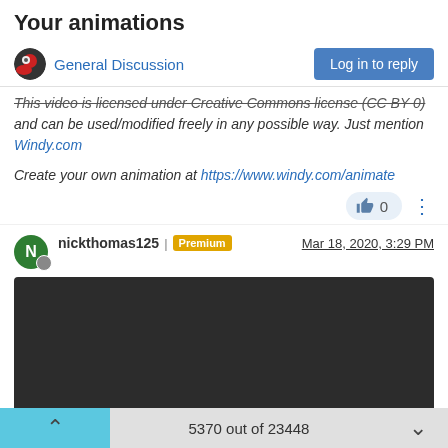Your animations
General Discussion
Log in to reply
This video is licensed under Creative Commons license (CC BY 0) and can be used/modified freely in any possible way. Just mention Windy.com
Create your own animation at https://www.windy.com/animate
0
nickthomas125 | Premium  Mar 18, 2020, 3:29 PM
[Figure (screenshot): Embedded video player with dark background showing 0:00 timestamp and playback controls]
5370 out of 23448